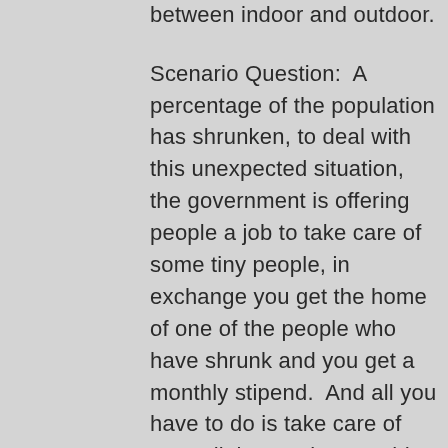between indoor and outdoor.
Scenario Question:  A percentage of the population has shrunken, to deal with this unexpected situation, the government is offering people a job to take care of some tiny people, in exchange you get the home of one of the people who have shrunk and you get a monthly stipend.  And all you have to do is take care of 20-30 little people.  Would you take the job?